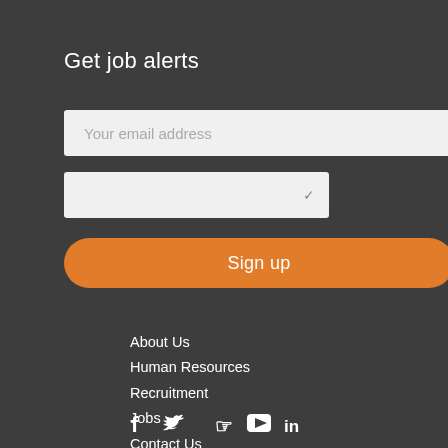Get job alerts
Your email address
Sign up
About Us
Human Resources
Recruitment
Jobs
Contact Us
Privacy Notice
[Figure (other): Social media icons: Facebook, Twitter, Pinterest, YouTube, LinkedIn]